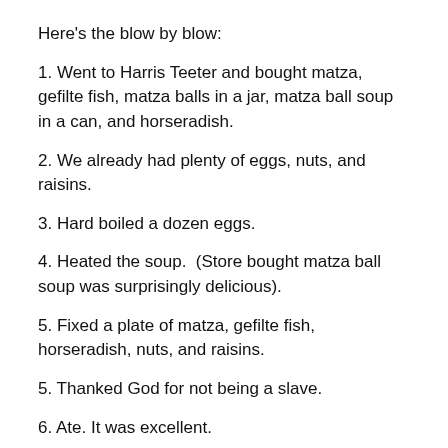Here's the blow by blow:
1. Went to Harris Teeter and bought matza, gefilte fish, matza balls in a jar, matza ball soup in a can, and horseradish.
2. We already had plenty of eggs, nuts, and raisins.
3. Hard boiled a dozen eggs.
4. Heated the soup.  (Store bought matza ball soup was surprisingly delicious).
5. Fixed a plate of matza, gefilte fish, horseradish, nuts, and raisins.
5. Thanked God for not being a slave.
6. Ate. It was excellent.